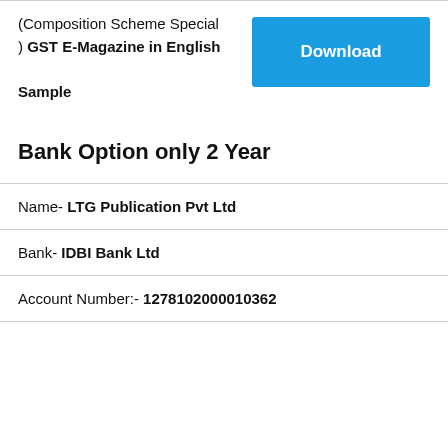(Composition Scheme Special
) GST E-Magazine in English
Sample
[Figure (other): Blue Download button]
Bank Option only 2 Year
Name- LTG Publication Pvt Ltd
Bank- IDBI Bank Ltd
Account Number:- 1278102000010362